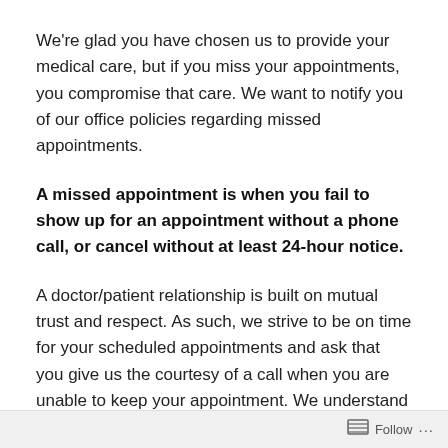We're glad you have chosen us to provide your medical care, but if you miss your appointments, you compromise that care. We want to notify you of our office policies regarding missed appointments.
A missed appointment is when you fail to show up for an appointment without a phone call, or cancel without at least 24-hour notice.
A doctor/patient relationship is built on mutual trust and respect. As such, we strive to be on time for your scheduled appointments and ask that you give us the courtesy of a call when you are unable to keep your appointment. We understand that there are times when you must miss an appointment due to emergencies or
Follow ···